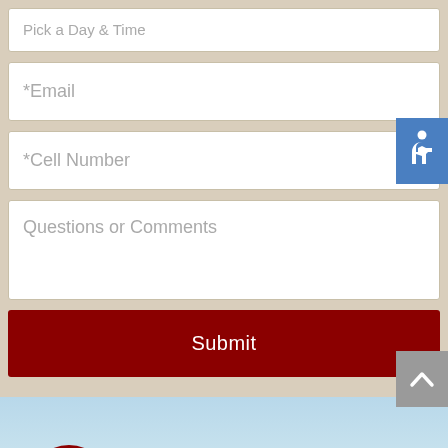Pick a Day & Time
*Email
*Cell Number
Questions or Comments
Submit
[Figure (screenshot): Bottom section showing a sky/mountain background with a red phone icon circle and a dark gray bar overlay at the bottom]